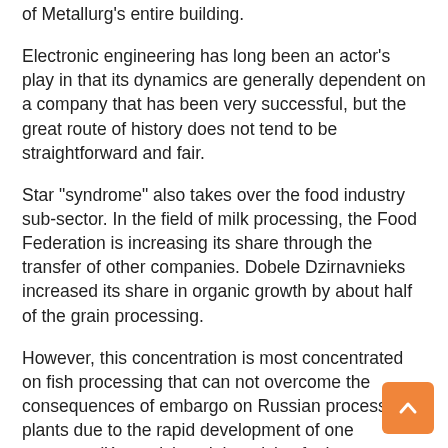of Metallurg's entire building.
Electronic engineering has long been an actor's play in that its dynamics are generally dependent on a company that has been very successful, but the great route of history does not tend to be straightforward and fair.
Star "syndrome" also takes over the food industry sub-sector. In the field of milk processing, the Food Federation is increasing its share through the transfer of other companies. Dobele Dzirnavnieks increased its share in organic growth by about half of the grain processing.
However, this concentration is most concentrated on fish processing that can not overcome the consequences of embargo on Russian processing plants due to the rapid development of one company (Karavela) and the crisis of other manufacturers. The company 's management anticipates that from their development, it is well...